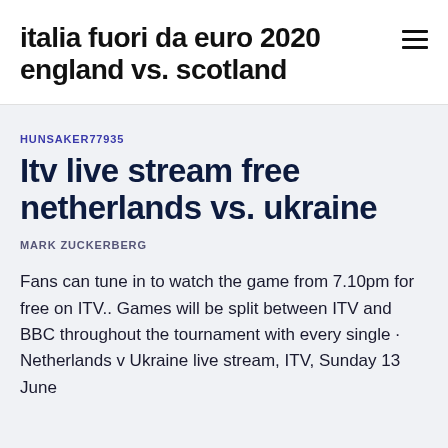italia fuori da euro 2020 england vs. scotland
HUNSAKER77935
Itv live stream free netherlands vs. ukraine
MARK ZUCKERBERG
Fans can tune in to watch the game from 7.10pm for free on ITV.. Games will be split between ITV and BBC throughout the tournament with every single · Netherlands v Ukraine live stream, ITV, Sunday 13 June